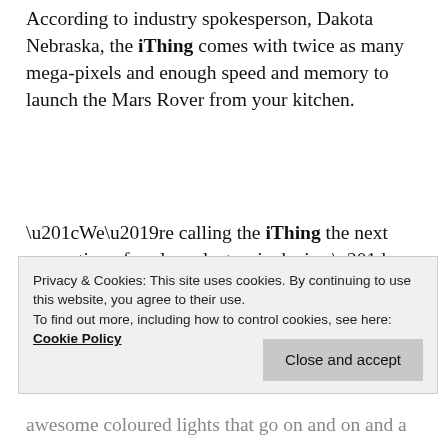According to industry spokesperson, Dakota Nebraska, the iThing comes with twice as many mega-pixels and enough speed and memory to launch the Mars Rover from your kitchen.
“We’re calling the iThing the next generation of useless electronic device.” Nebraska said. “The iThing is totally wireless, you can recharge it with the steam off your pee and battery life, with
Privacy & Cookies: This site uses cookies. By continuing to use this website, you agree to their use.
To find out more, including how to control cookies, see here: Cookie Policy
awesome coloured lights that go on and on and a